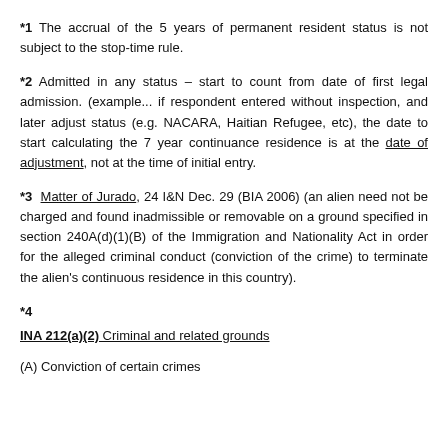*1 The accrual of the 5 years of permanent resident status is not subject to the stop-time rule.
*2 Admitted in any status – start to count from date of first legal admission. (example... if respondent entered without inspection, and later adjust status (e.g. NACARA, Haitian Refugee, etc), the date to start calculating the 7 year continuance residence is at the date of adjustment, not at the time of initial entry.
*3 Matter of Jurado, 24 I&N Dec. 29 (BIA 2006) (an alien need not be charged and found inadmissible or removable on a ground specified in section 240A(d)(1)(B) of the Immigration and Nationality Act in order for the alleged criminal conduct (conviction of the crime) to terminate the alien's continuous residence in this country).
*4
INA 212(a)(2) Criminal and related grounds
(A) Conviction of certain crimes